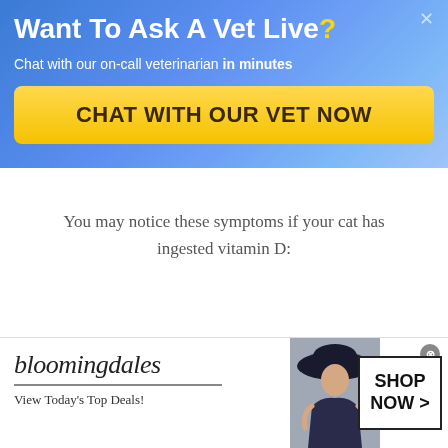[Figure (screenshot): Vet chat promotional banner with gradient blue background, title 'Want To Ask A Vet Live?', subtitle 'Chat with our on-call veterinarian in minutes', and yellow CTA button 'CHAT WITH OUR VET NOW']
You may notice these symptoms if your cat has ingested vitamin D:
[Figure (screenshot): Bloomingdale's advertisement banner showing logo, tagline 'View Today's Top Deals!', a model with hat, and 'SHOP NOW >' button]